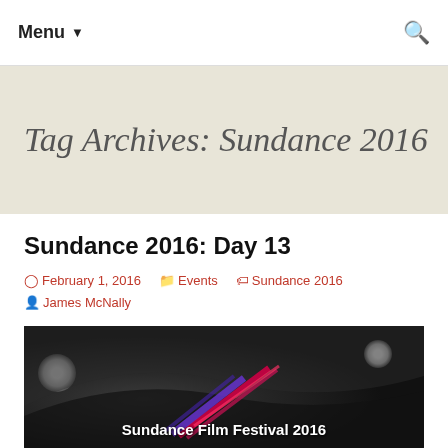Menu ▼
Tag Archives: Sundance 2016
Sundance 2016: Day 13
February 1, 2016   Events   Sundance 2016   James McNally
[Figure (photo): Dark venue photo showing spotlights on ceiling and 'Sundance Film Festival 2016' text overlay with colorful diagonal lines/logo graphic]